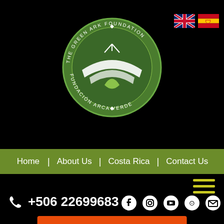[Figure (logo): The Green Ark Foundation / Fundación Arca Verde circular logo with green background and white ark/leaf design]
[Figure (illustration): UK flag and Spanish flag icons in top right corner]
Home | About Us | Costa Rica | Contact Us
[Figure (illustration): Hamburger menu icon (three horizontal yellow-green lines)]
+506 22699683
[Figure (illustration): Social media icons: Facebook, Instagram, YouTube, TripAdvisor, Email]
Make a Donation